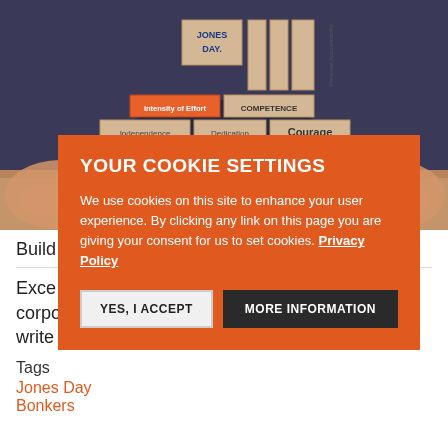[Figure (photo): Photo of a person in a dark suit arranging wooden blocks with Jones Day values (Intensity of Effort, Competence, Independence, Dedication, Courage, DISCIPLINE, Understanding, Determination, Unity of Purpose, Commitment, Personal Accountability) on a table. Hands visible on both sides.]
Build t...
Exce... corporate law firm video, or any bonkers firm sites, write in.
Tags
Jones Day
Bonkers
[Figure (screenshot): Cookie settings modal overlay on orange background. Title: YOUR COOKIE SETTINGS. Body: We use cookies on this site to enhance your user experience. By clicking any link on this page you are giving your consent for us to set cookies. Privacy Policy. Buttons: YES, I ACCEPT and MORE INFORMATION.]